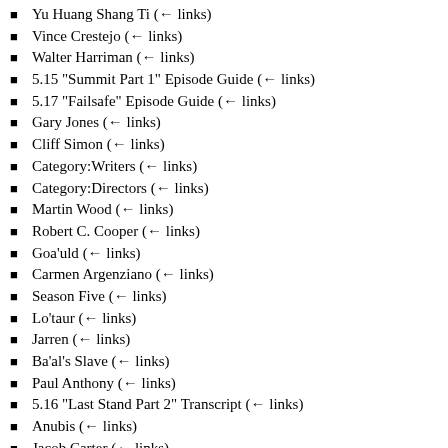Yu Huang Shang Ti  (← links)
Vince Crestejo  (← links)
Walter Harriman  (← links)
5.15 "Summit Part 1" Episode Guide  (← links)
5.17 "Failsafe" Episode Guide  (← links)
Gary Jones  (← links)
Cliff Simon  (← links)
Category:Writers  (← links)
Category:Directors  (← links)
Martin Wood  (← links)
Robert C. Cooper  (← links)
Goa'uld  (← links)
Carmen Argenziano  (← links)
Season Five  (← links)
Lo'taur  (← links)
Jarren  (← links)
Ba'al's Slave  (← links)
Paul Anthony  (← links)
5.16 "Last Stand Part 2" Transcript  (← links)
Anubis  (← links)
Jacob Carter  (← links)
Season Five Transcripts  (← links)
Sarah Gardner  (← links)
Anna-Louise Plowman  (← links)
Osiris  (← links)